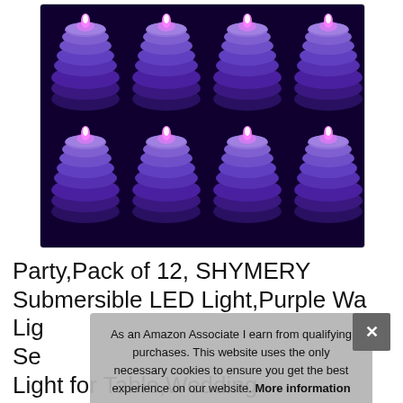[Figure (photo): Product photo of 8 purple submersible LED tea lights arranged in two rows of four on a dark purple/black background, inside a white-bordered container]
Party,Pack of 12, SHYMERY Submersible LED Light,Purple Wa... Lig... Se... Light for Table,Wedding Centerpieces
As an Amazon Associate I earn from qualifying purchases. This website uses the only necessary cookies to ensure you get the best experience on our website. More information